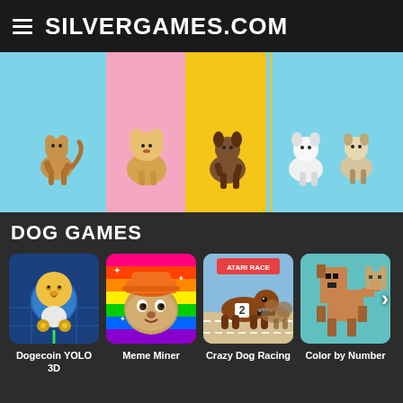SILVERGAMES.COM
[Figure (illustration): Animated dogs on a light-blue, pink and yellow striped banner background]
DOG GAMES
[Figure (screenshot): Dogecoin YOLO 3D game thumbnail - cartoon astronaut dog]
Dogecoin YOLO 3D
[Figure (screenshot): Meme Miner game thumbnail - Doge meme dog with hard hat on rainbow background]
Meme Miner
[Figure (screenshot): Crazy Dog Racing game thumbnail - dog with spiked collar running on track]
Crazy Dog Racing
[Figure (screenshot): Color by Number game thumbnail - pixel art dog]
Color by Number